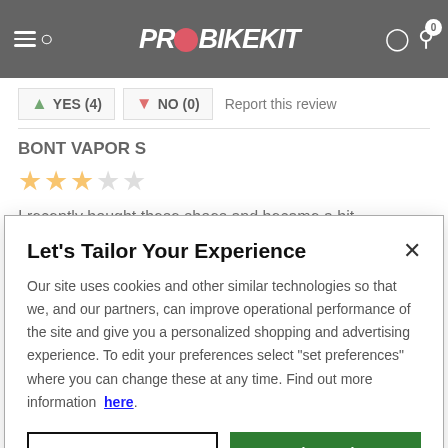PROBIKEKIT
YES (4)   NO (0)   Report this review
BONT VAPOR S
★★★☆☆
I recently bought these shoes and became a bit disappointed with the way they fit after my first ride with them. On the outer side, there's an attachment for the BOA
Let's Tailor Your Experience
Our site uses cookies and other similar technologies so that we, and our partners, can improve operational performance of the site and give you a personalized shopping and advertising experience. To edit your preferences select "set preferences" where you can change these at any time. Find out more information here.
Set Preference
That's Ok